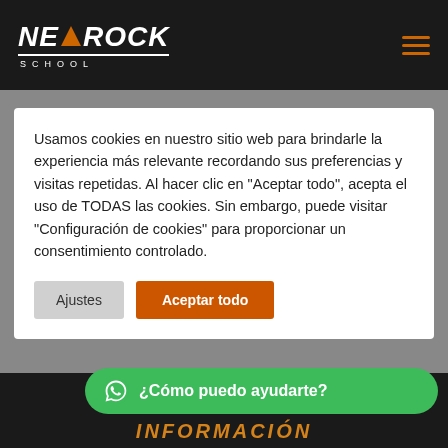[Figure (logo): NeoRock School logo with orange triangle between NE and ROCK, white text on dark background, SCHOOL spelled out below with underline]
Usamos cookies en nuestro sitio web para brindarle la experiencia más relevante recordando sus preferencias y visitas repetidas. Al hacer clic en "Aceptar todo", acepta el uso de TODAS las cookies. Sin embargo, puede visitar "Configuración de cookies" para proporcionar un consentimiento controlado.
Ajustes
Aceptar todo
¿Cómo puedo ayudarte?
INFORMACIÓN DE CONTACTO